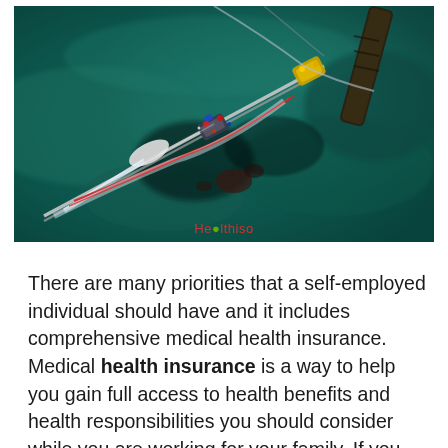[Figure (photo): Close-up photo of surgical laparoscopic instruments on teal/green surgical drape, with wires and tubes visible. Watermark reads 'Healthiso' with a green dot replacing the 'l'.]
There are many priorities that a self-employed individual should have and it includes comprehensive medical health insurance. Medical health insurance is a way to help you gain full access to health benefits and health responsibilities you should consider while you are working for your family. If you were too spent